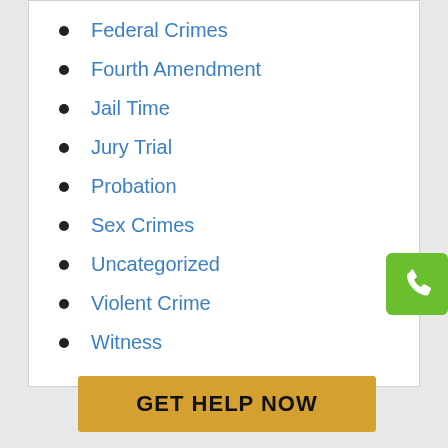Federal Crimes
Fourth Amendment
Jail Time
Jury Trial
Probation
Sex Crimes
Uncategorized
Violent Crime
Witness
[Figure (other): Green phone icon button in top-right corner]
GET HELP NOW